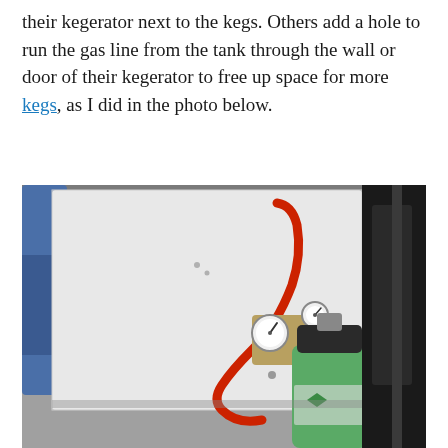their kegerator next to the kegs. Others add a hole to run the gas line from the tank through the wall or door of their kegerator to free up space for more kegs, as I did in the photo below.
[Figure (photo): A photo showing the exterior side of a white kegerator with a red gas hose running from a hole near the top, looping down to a CO2 regulator connected to a green CO2 tank sitting on the floor to the right of the kegerator.]